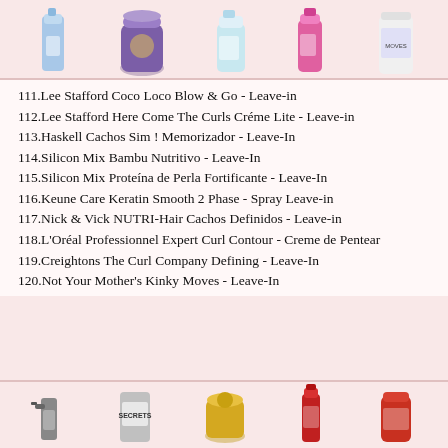[Figure (photo): Row of 5 hair product bottles/containers at the top of the page]
111.Lee Stafford Coco Loco Blow & Go - Leave-in
112.Lee Stafford Here Come The Curls Créme Lite - Leave-in
113.Haskell Cachos Sim ! Memorizador - Leave-In
114.Silicon Mix Bambu Nutritivo - Leave-In
115.Silicon Mix Proteína de Perla Fortificante - Leave-In
116.Keune Care Keratin Smooth 2 Phase - Spray Leave-in
117.Nick & Vick NUTRI-Hair Cachos Definidos - Leave-in
118.L'Oréal Professionnel Expert Curl Contour - Creme de Pentear
119.Creightons The Curl Company Defining - Leave-In
120.Not Your Mother's Kinky Moves - Leave-In
[Figure (photo): Row of 5 hair product bottles/containers at the bottom of the page]